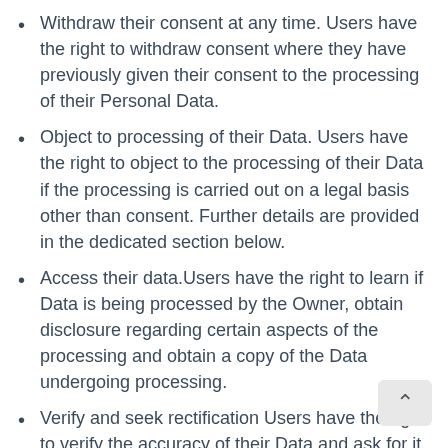Withdraw their consent at any time. Users have the right to withdraw consent where they have previously given their consent to the processing of their Personal Data.
Object to processing of their Data. Users have the right to object to the processing of their Data if the processing is carried out on a legal basis other than consent. Further details are provided in the dedicated section below.
Access their data.Users have the right to learn if Data is being processed by the Owner, obtain disclosure regarding certain aspects of the processing and obtain a copy of the Data undergoing processing.
Verify and seek rectification Users have the right to verify the accuracy of their Data and ask for it to be updated or corrected.
Restrict the processing of their data. Users have the right, under certain circumstances, to restrict the processing of their Data. In this case, the Owner will